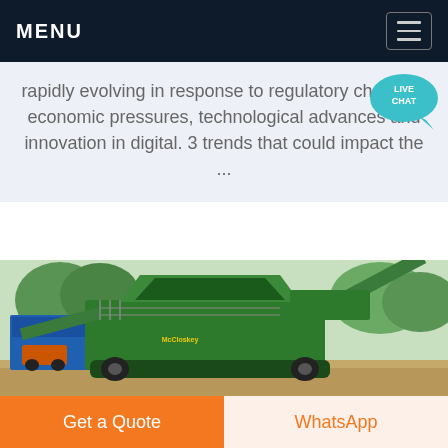MENU
rapidly evolving in response to regulatory changes, economic pressures, technological advances and innovation in digital. 3 trends that could impact the ...
[Figure (photo): Green industrial crushing/screening machinery (Mccreery brand) on a worksite with gravel and trees in background]
Get a Quote | WhatsApp